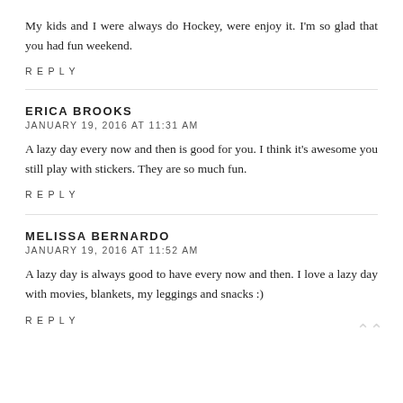My kids and I were always do Hockey, were enjoy it. I'm so glad that you had fun weekend.
REPLY
ERICA BROOKS
JANUARY 19, 2016 AT 11:31 AM
A lazy day every now and then is good for you. I think it's awesome you still play with stickers. They are so much fun.
REPLY
MELISSA BERNARDO
JANUARY 19, 2016 AT 11:52 AM
A lazy day is always good to have every now and then. I love a lazy day with movies, blankets, my leggings and snacks :)
REPLY